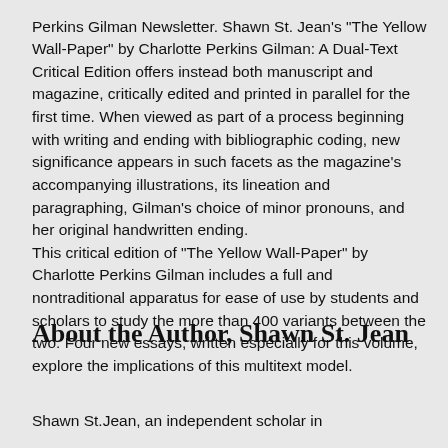Perkins Gilman Newsletter. Shawn St. Jean's "The Yellow Wall-Paper" by Charlotte Perkins Gilman: A Dual-Text Critical Edition offers instead both manuscript and magazine, critically edited and printed in parallel for the first time. When viewed as part of a process beginning with writing and ending with bibliographic coding, new significance appears in such facets as the magazine's accompanying illustrations, its lineation and paragraphing, Gilman's choice of minor pronouns, and her original handwritten ending. This critical edition of "The Yellow Wall-Paper" by Charlotte Perkins Gilman includes a full and nontraditional apparatus for ease of use by students and scholars to study the more than 400 variants between the two. Four new essays, written especially for this volume, explore the implications of this multitext model.
About the Author, Shawn St. Jean
Shawn St.Jean, an independent scholar in